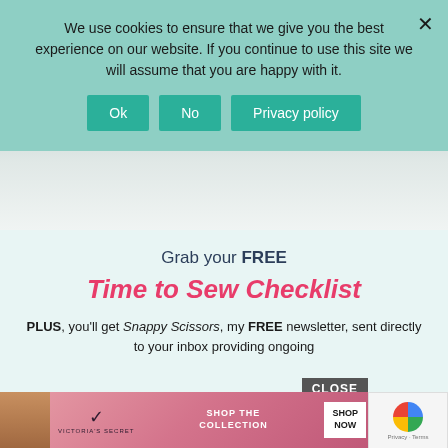We use cookies to ensure that we give you the best experience on our website. If you continue to use this site we will assume that you are happy with it.
Ok | No | Privacy policy
[Figure (photo): Partial view of a white desk with papers, teal items, and desk legs visible]
Grab your FREE
Time to Sew Checklist
PLUS, you'll get Snappy Scissors, my FREE newsletter, sent directly to your inbox providing ongoing
[Figure (screenshot): Victoria's Secret advertisement banner with CLOSE button and reCAPTCHA widget]